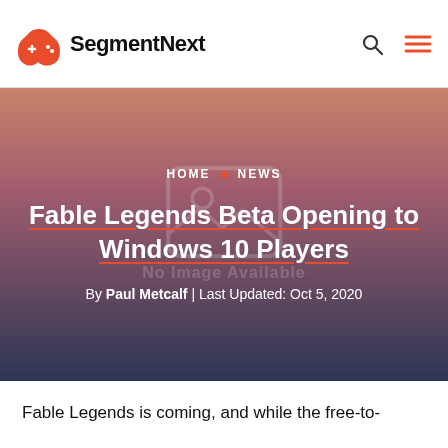SegmentNext
[Figure (screenshot): Hero banner with gradient background (peach to dark navy), breadcrumb navigation HOME • NEWS, article title with red underline, and byline. A faint 'No Image Available' placeholder icon is visible in the background.]
Fable Legends Beta Opening to Windows 10 Players
By Paul Metcalf | Last Updated: Oct 5, 2020
Fable Legends is coming, and while the free-to-